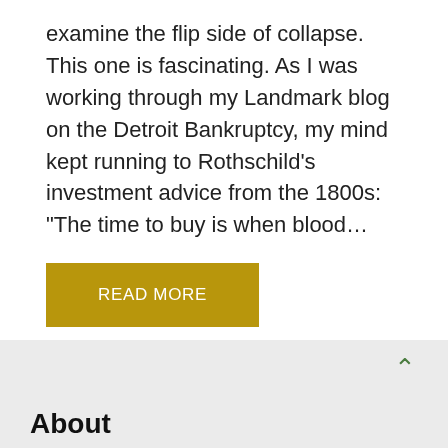examine the flip side of collapse. This one is fascinating. As I was working through my Landmark blog on the Detroit Bankruptcy, my mind kept running to Rothschild’s investment advice from the 1800s: “The time to buy is when blood…
READ MORE
1  2  3  ...  5  Next »
About